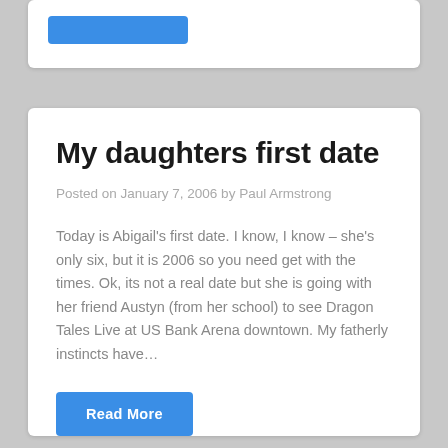[Figure (other): Top card with blue button partially visible at top of page]
My daughters first date
Posted on January 7, 2006 by Paul Armstrong
Today is Abigail's first date. I know, I know – she's only six, but it is 2006 so you need get with the times. Ok, its not a real date but she is going with her friend Austyn (from her school) to see Dragon Tales Live at US Bank Arena downtown. My fatherly instincts have…
Read More